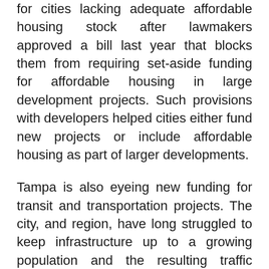for cities lacking adequate affordable housing stock after lawmakers approved a bill last year that blocks them from requiring set-aside funding for affordable housing in large development projects. Such provisions with developers helped cities either fund new projects or include affordable housing as part of larger developments.
Tampa is also eyeing new funding for transit and transportation projects. The city, and region, have long struggled to keep infrastructure up to a growing population and the resulting traffic congestion it creates.
While the city is anticipating a windfall of revenue under the All For Transportation 1% sales tax voters approved in 2018, that money